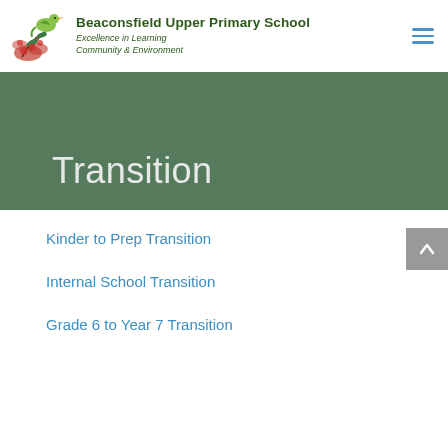Beaconsfield Upper Primary School — Excellence in Learning Community & Environment
Transition
Kinder to Prep Transition
Internal School Transition
Grade 6 to Year 7 Transition